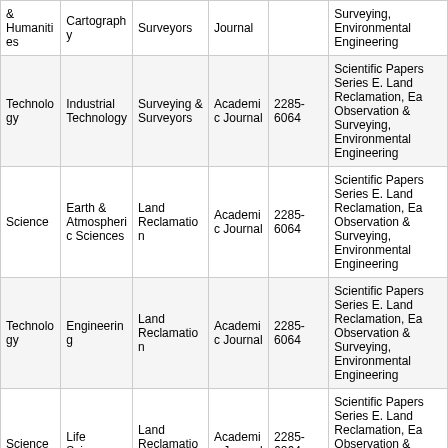|  |  |  |  |  |  |
| --- | --- | --- | --- | --- | --- |
| & Humanities | Cartography | Surveyors | Journal |  | Surveying, Environmental Engineering |
| Technology | Industrial Technology | Surveying & Surveyors | Academic Journal | 2285-6064 | Scientific Papers Series E. Land Reclamation, Ea Observation & Surveying, Environmental Engineering |
| Science | Earth & Atmospheric Sciences | Land Reclamation | Academic Journal | 2285-6064 | Scientific Papers Series E. Land Reclamation, Ea Observation & Surveying, Environmental Engineering |
| Technology | Engineering | Land Reclamation | Academic Journal | 2285-6064 | Scientific Papers Series E. Land Reclamation, Ea Observation & Surveying, Environmental Engineering |
| Science | Life Sciences | Land Reclamation | Academic Journal | 2285-6064 | Scientific Papers Series E. Land Reclamation, Ea Observation & Surveying, Environmental Engineering |
| Science | Earth & Atmospheric Sciences | Shore Protection & Coastal Ecology | Academic Journal | 0037-4237 | Shore & Beach |
| Science | Life Sciences | Shore Protection & Coastal Ecology | Academic Journal | 0037-4237 | Shore & Beach |
|  | Earth & | Geography & | Academic |  | Singapore Journ |